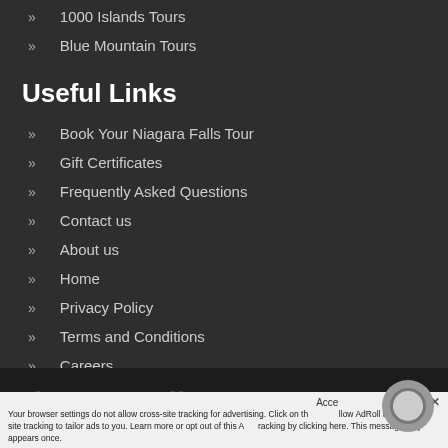1000 Islands Tours
Blue Mountain Tours
Useful Links
Book Your Niagara Falls Tour
Gift Certificates
Frequently Asked Questions
Contact us
About us
Home
Privacy Policy
Terms and Conditions
Careers
Niagara Attraction Pass
Niagara Falls Tours — Your browser settings do not allow cross-site tracking for advertising. Click on the button to allow AdRoll to use cross-site tracking to tailor ads to you. Learn more or opt out of this AdRoll tracking by clicking here. This message only appears once.